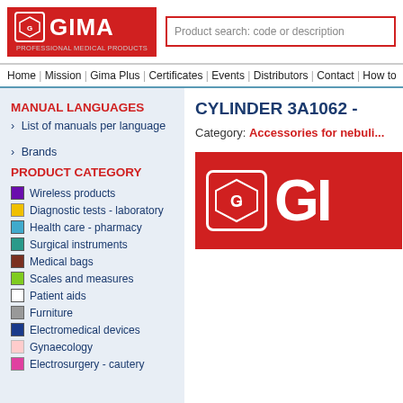[Figure (logo): GIMA Professional Medical Products logo - red background with white GIMA text and diamond icon]
Product search: code or description
Home | Mission | Gima Plus | Certificates | Events | Distributors | Contact | How to
MANUAL LANGUAGES
List of manuals per language
Brands
PRODUCT CATEGORY
Wireless products
Diagnostic tests - laboratory
Health care - pharmacy
Surgical instruments
Medical bags
Scales and measures
Patient aids
Furniture
Electromedical devices
Gynaecology
Electrosurgery - cautery
CYLINDER 3A1062 -
Category: Accessories for nebuli...
[Figure (logo): GIMA logo on red background - partial view showing GI letters]